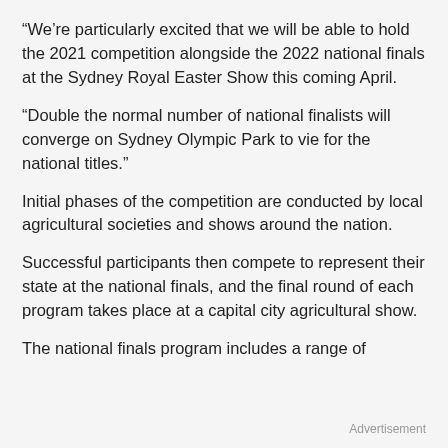“We’re particularly excited that we will be able to hold the 2021 competition alongside the 2022 national finals at the Sydney Royal Easter Show this coming April.
“Double the normal number of national finalists will converge on Sydney Olympic Park to vie for the national titles.”
Initial phases of the competition are conducted by local agricultural societies and shows around the nation.
Successful participants then compete to represent their state at the national finals, and the final round of each program takes place at a capital city agricultural show.
The national finals program includes a range of
Advertisement